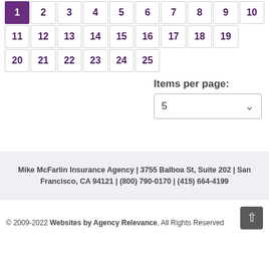| 1 | 2 | 3 | 4 | 5 | 6 | 7 | 8 | 9 | 10 |
| 11 | 12 | 13 | 14 | 15 | 16 | 17 | 18 | 19 |  |
| 20 | 21 | 22 | 23 | 24 | 25 |  |  |  |  |
Items per page:
5
Mike McFarlin Insurance Agency | 3755 Balboa St, Suite 202 | San Francisco, CA 94121 | (800) 790-0170 | (415) 664-4199
© 2009-2022 Websites by Agency Relevance, All Rights Reserved